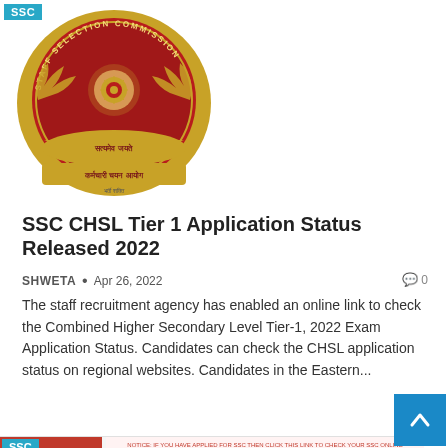[Figure (logo): SSC Staff Selection Commission circular logo with red background, gold emblem, and Hindi text 'कर्मचारी चयन आयोग']
SSC CHSL Tier 1 Application Status Released 2022
SHWETA • Apr 26, 2022   0
The staff recruitment agency has enabled an online link to check the Combined Higher Secondary Level Tier-1, 2022 Exam Application Status. Candidates can check the CHSL application status on regional websites. Candidates in the Eastern...
[Figure (screenshot): Screenshot of SSC application status check form with SSC badge, red sidebar menu, and form fields for Registration ID, Date of Birth, and Roll No sections]